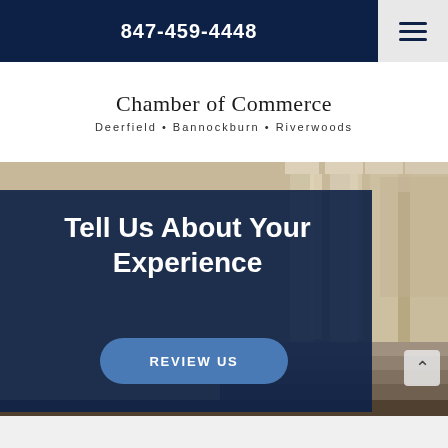847-459-4448
[Figure (logo): Chamber of Commerce logo with text 'Chamber of Commerce' and 'Deerfield • Bannockburn • Riverwoods']
[Figure (photo): Background photo of classical stone pillars/columns with steps, partially overlaid with dark navy blue panel containing call-to-action text]
Tell Us About Your Experience
REVIEW US